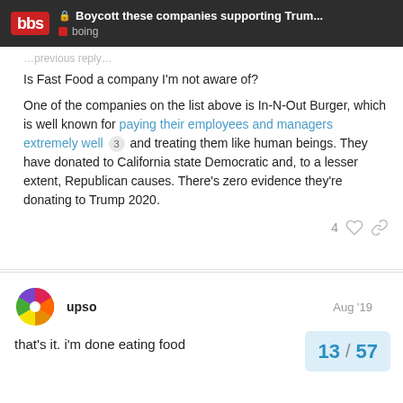Boycott these companies supporting Trum... | boing
Is Fast Food a company I'm not aware of?
One of the companies on the list above is In-N-Out Burger, which is well known for paying their employees and managers extremely well 3 and treating them like human beings. They have donated to California state Democratic and, to a lesser extent, Republican causes. There's zero evidence they're donating to Trump 2020.
upso  Aug '19
that's it. i'm done eating food